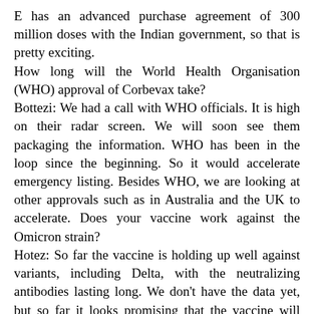E has an advanced purchase agreement of 300 million doses with the Indian government, so that is pretty exciting. How long will the World Health Organisation (WHO) approval of Corbevax take? Bottezi: We had a call with WHO officials. It is high on their radar screen. We will soon see them packaging the information. WHO has been in the loop since the beginning. So it would accelerate emergency listing. Besides WHO, we are looking at other approvals such as in Australia and the UK to accelerate. Does your vaccine work against the Omicron strain? Hotez: So far the vaccine is holding up well against variants, including Delta, with the neutralizing antibodies lasting long. We don't have the data yet, but so far it looks promising that the vaccine will hold up against Omicron, particularly after people are fully immunized.